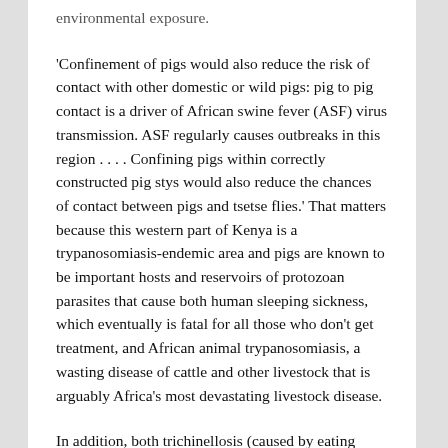environmental exposure.
'Confinement of pigs would also reduce the risk of contact with other domestic or wild pigs: pig to pig contact is a driver of African swine fever (ASF) virus transmission. ASF regularly causes outbreaks in this region . . . . Confining pigs within correctly constructed pig stys would also reduce the chances of contact between pigs and tsetse flies.' That matters because this western part of Kenya is a trypanosomiasis-endemic area and pigs are known to be important hosts and reservoirs of protozoan parasites that cause both human sleeping sickness, which eventually is fatal for all those who don't get treatment, and African animal trypanosomiasis, a wasting disease of cattle and other livestock that is arguably Africa's most devastating livestock disease.
In addition, both trichinellosis (caused by eating undercooked pork infected by the larva of a roundworm) and toxoplasmosis (caused by a protozoan pathogen through ingestion of cat faeces or undercooked meat) are 'very real threats to these free-ranging pigs, with access